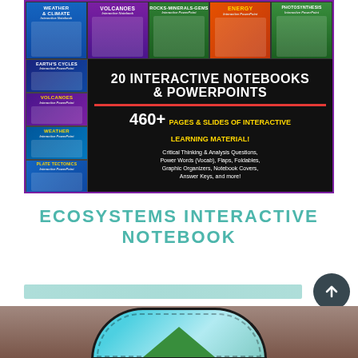[Figure (illustration): Collage of 20 Interactive Notebooks & PowerPoints educational materials. Top row shows Weather & Climate, Volcanoes, Rocks/Minerals/Gems, Energy, and Photosynthesis interactive notebooks/PowerPoints. Left side shows Earth's Cycles, Volcanoes, Weather, and Plate Tectonics interactive PowerPoint thumbnails. Center black banner reads '20 INTERACTIVE NOTEBOOKS & POWERPOINTS' with '460+ PAGES & SLIDES OF INTERACTIVE LEARNING MATERIAL!' and description of included content.]
ECOSYSTEMS INTERACTIVE NOTEBOOK
[Figure (photo): Bottom portion of an ecosystems interactive notebook photo showing a circular/arc-shaped notebook element with teal/blue coloring and a green triangle, on a wooden table surface.]